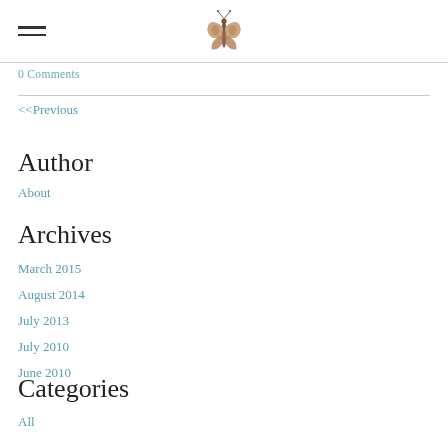[hamburger menu icon] [butterfly logo]
0 Comments
<<Previous
Author
About
Archives
March 2015
August 2014
July 2013
July 2010
June 2010
Categories
All